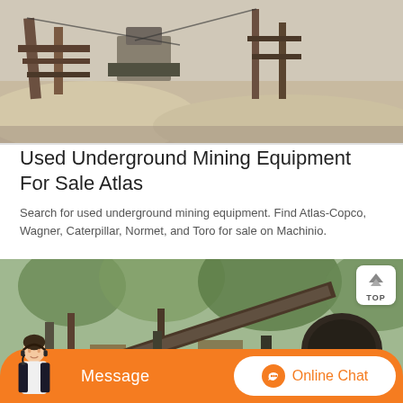[Figure (photo): Mining equipment site - top image showing wooden structures, machinery and sandy/rocky terrain at a mining site]
Used Underground Mining Equipment For Sale Atlas
Search for used underground mining equipment. Find Atlas-Copco, Wagner, Caterpillar, Normet, and Toro for sale on Machinio.
[Figure (photo): Mining equipment site - lower image showing conveyor belt system, industrial machinery, and equipment in an outdoor wooded setting with rusty metal structures]
[Figure (screenshot): Orange chat bar at bottom with Message button on left, Online Chat button with headset icon on right, and customer service avatar on lower-left]